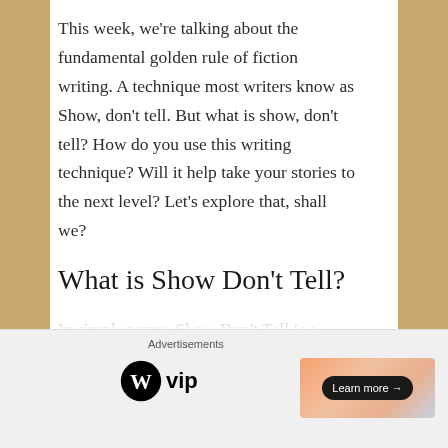This week, we're talking about the fundamental golden rule of fiction writing. A technique most writers know as Show, don't tell. But what is show, don't tell? How do you use this writing technique? Will it help take your stories to the next level? Let's explore that, shall we?
What is Show Don't Tell?
In simple terms, Show Don't Tell is a writing technique where the writer leaves behind lengthy expositions and explanations. Instead, the plot, it's tone and characterization are all conveyed through actions, thoughts, and feelings. Showing the audience instead of telling them point blank. At its heart, Show Don't Tell is
Advertisements